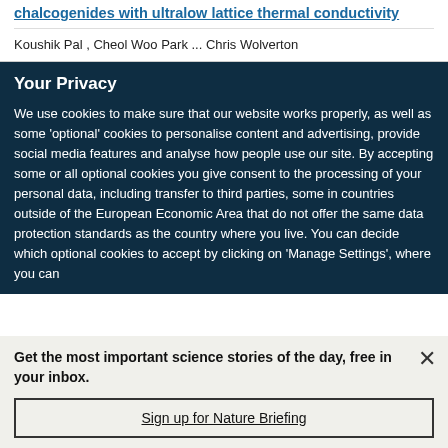chalcogenides with ultralow lattice thermal conductivity
Koushik Pal , Cheol Woo Park ... Chris Wolverton
Your Privacy
We use cookies to make sure that our website works properly, as well as some ‘optional’ cookies to personalise content and advertising, provide social media features and analyse how people use our site. By accepting some or all optional cookies you give consent to the processing of your personal data, including transfer to third parties, some in countries outside of the European Economic Area that do not offer the same data protection standards as the country where you live. You can decide which optional cookies to accept by clicking on ‘Manage Settings’, where you can
Get the most important science stories of the day, free in your inbox.
Sign up for Nature Briefing